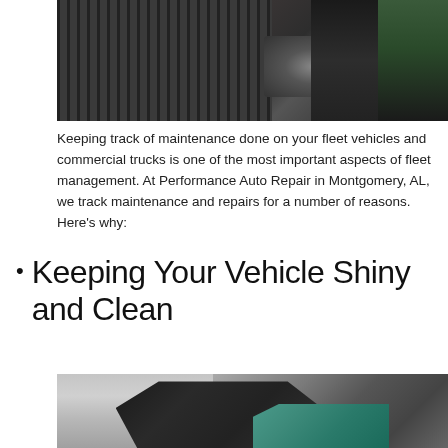[Figure (photo): Close-up of a truck engine bay and front grille area, with a person in a dark jacket visible on the right side]
Keeping track of maintenance done on your fleet vehicles and commercial trucks is one of the most important aspects of fleet management. At Performance Auto Repair in Montgomery, AL, we track maintenance and repairs for a number of reasons. Here's why:
Keeping Your Vehicle Shiny and Clean
[Figure (photo): A gloved hand using a teal microfiber cloth to polish or clean the side panel of a silver car]